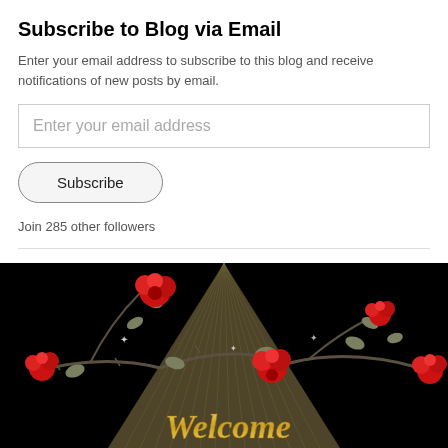Subscribe to Blog via Email
Enter your email address to subscribe to this blog and receive notifications of new posts by email.
Enter your email address
Subscribe
Join 285 other followers
[Figure (illustration): Dark background image with red roses on vine branches and a golden 'Welcome' script text sign]